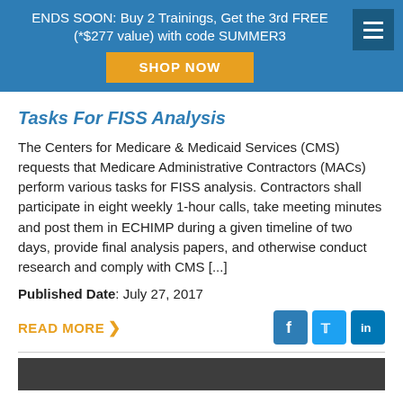ENDS SOON: Buy 2 Trainings, Get the 3rd FREE (*$277 value) with code SUMMER3
SHOP NOW
Tasks For FISS Analysis
The Centers for Medicare & Medicaid Services (CMS) requests that Medicare Administrative Contractors (MACs) perform various tasks for FISS analysis. Contractors shall participate in eight weekly 1-hour calls, take meeting minutes and post them in ECHIMP during a given timeline of two days, provide final analysis papers, and otherwise conduct research and comply with CMS [...]
Published Date: July 27, 2017
READ MORE >